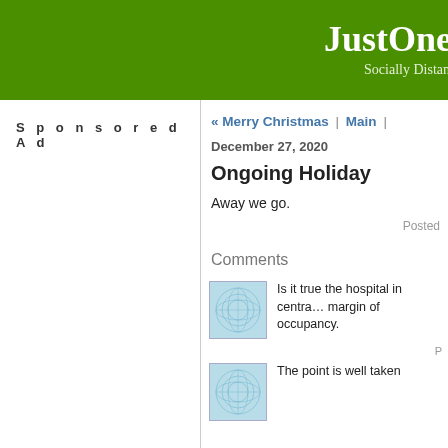JustOne... — Socially Distan...
Sponsored Ad
« Merry Christmas | Main |
December 27, 2020
Ongoing Holiday
Away we go.
Posted
Comments
[Figure (illustration): Avatar image with blue circular pattern on light blue background]
Is it true the hospital in centra... margin of occupancy.
P
[Figure (illustration): Avatar image with blue circular pattern on light blue background]
The point is well taken